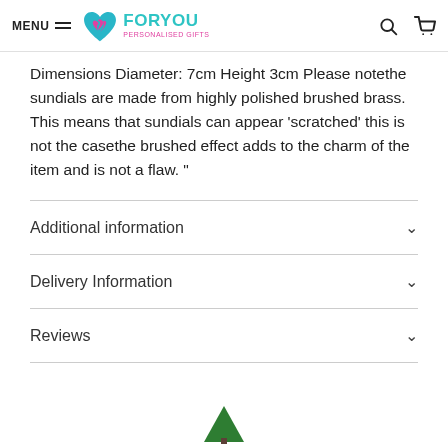MENU | ForYou Personalised Gifts
Dimensions Diameter: 7cm Height 3cm Please note the sundials are made from highly polished brushed brass. This means that sundials can appear ‘scratched’ this is not the case the brushed effect adds to the charm of the item and is not a flaw. “
Additional information
Delivery Information
Reviews
[Figure (illustration): Green tree/plant illustration at bottom of page]